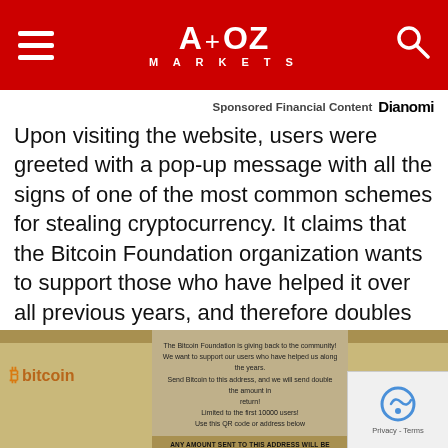A+OZ MARKETS
Sponsored Financial Content  Dianomi
Upon visiting the website, users were greeted with a pop-up message with all the signs of one of the most common schemes for stealing cryptocurrency. It claims that the Bitcoin Foundation organization wants to support those who have helped it over all previous years, and therefore doubles the assets if sent to the specified address. The scammers try to create a sense of urgency by claiming that only 10,000 users will be able to participate in the distribution.
[Figure (screenshot): Screenshot of a fake Bitcoin Foundation pop-up scam page showing the bitcoin logo, a message about giving back to the community, sending Bitcoin for doubling, limited to first 10000 users, with a QR code section and warning banner at bottom.]